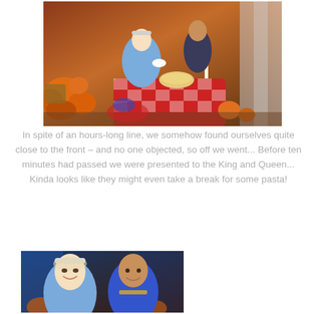[Figure (photo): A woman in a Cinderella-style blue dress with white gloves and a headband stands at a red-and-white checkered tablecloth table with a man in a suit, surrounded by pumpkins and harvest decorations. A large bowl of spaghetti/pasta sits on the table with a candle.]
In spite of an hours-long line, we somehow found ourselves quite close to the front – and no one objected, so off we went... Before ten minutes had passed we were presented to the King and Queen... Kinda looks like they might even take a break for some pasta!
[Figure (photo): A close-up photo of a woman dressed as Cinderella with a blue headband and a man in a blue prince costume, smiling together, with pumpkins and blue drapes in the background.]